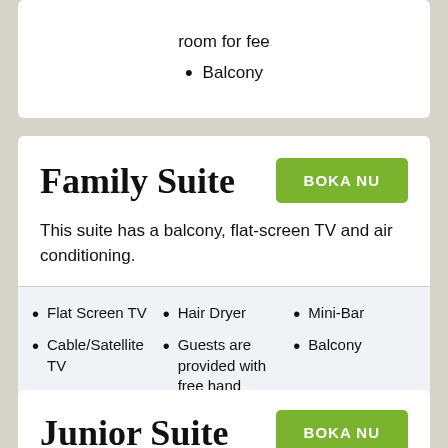room for fee
Balcony
Family Suite
This suite has a balcony, flat-screen TV and air conditioning.
Flat Screen TV
Cable/Satellite TV
Coffee Maker
Hair Dryer
Guests are provided with free hand sanitizer
In room safe
Mini-Bar
Balcony
Junior Suite